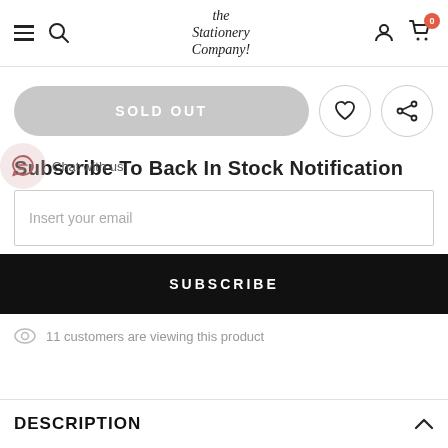The Stationery Company
[Figure (screenshot): Sold Out button with heart and share icons]
[Figure (illustration): Chat with us WhatsApp bubble icon overlay]
Subscribe To Back In Stock Notification
Insert your email
SUBSCRIBE
11 customers are viewing this product
DESCRIPTION